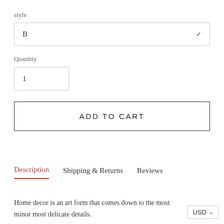style
B
Quantity
1
ADD TO CART
Description   Shipping & Returns   Reviews
Home decor is an art form that comes down to the most minor most delicate details.